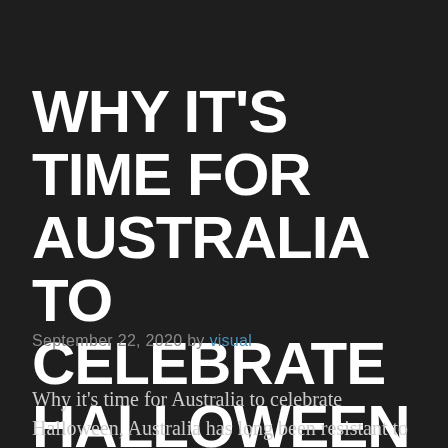WHY IT'S TIME FOR AUSTRALIA TO CELEBRATE HALLOWEEN
September 22, 2020 by visual
Why it's time for Australia to celebrate Halloween, Australia has long been resistant to the idea of celebrating Halloween, considering